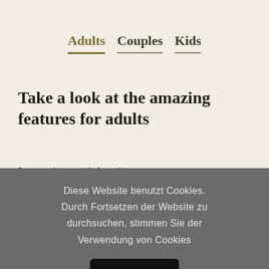Adults   Couples   Kids
Take a look at the amazing features for adults
Lorem ipsum dolor sit amet,
Diese Website benutzt Cookies. Durch Fortsetzen der Website zu durchsuchen, stimmen Sie der Verwendung von Cookies
OK